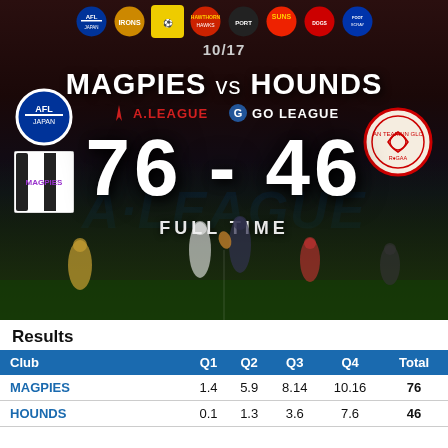[Figure (photo): Sports scoreboard graphic showing MAGPIES vs HOUNDS AFL match with score 76-46 Full Time, overlaid on a dark photo of players on field. Logos for AFL Japan, A.League, Go League and various team badges visible. Top row shows 8 team logos.]
10/17
MAGPIES vs HOUNDS
A.LEAGUE   GO LEAGUE
76 - 46
FULL TIME
Results
| Club | Q1 | Q2 | Q3 | Q4 | Total |
| --- | --- | --- | --- | --- | --- |
| MAGPIES | 1.4 | 5.9 | 8.14 | 10.16 | 76 |
| HOUNDS | 0.1 | 1.3 | 3.6 | 7.6 | 46 |